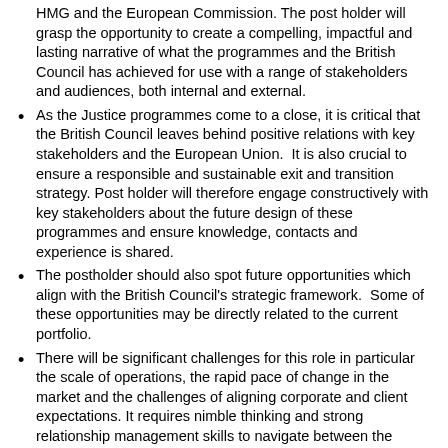HMG and the European Commission. The post holder will grasp the opportunity to create a compelling, impactful and lasting narrative of what the programmes and the British Council has achieved for use with a range of stakeholders and audiences, both internal and external.
As the Justice programmes come to a close, it is critical that the British Council leaves behind positive relations with key stakeholders and the European Union. It is also crucial to ensure a responsible and sustainable exit and transition strategy. Post holder will therefore engage constructively with key stakeholders about the future design of these programmes and ensure knowledge, contacts and experience is shared.
The postholder should also spot future opportunities which align with the British Council's strategic framework. Some of these opportunities may be directly related to the current portfolio.
There will be significant challenges for this role in particular the scale of operations, the rapid pace of change in the market and the challenges of aligning corporate and client expectations. It requires nimble thinking and strong relationship management skills to navigate between the range of stakeholders involved internally and externally.
Requirements
Essential:
Written, spoken and aural English at graduate level